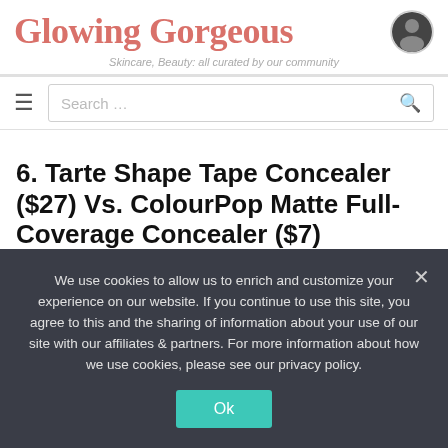Glowing Gorgeous
Skincare, Beauty: all curated by our community
Search …
6. Tarte Shape Tape Concealer ($27) Vs. ColourPop Matte Full-Coverage Concealer ($7)
tarte Shape Tape Concealer
We use cookies to allow us to enrich and customize your experience on our website. If you continue to use this site, you agree to this and the sharing of information about your use of our site with our affiliates & partners. For more information about how we use cookies, please see our privacy policy.
Ok